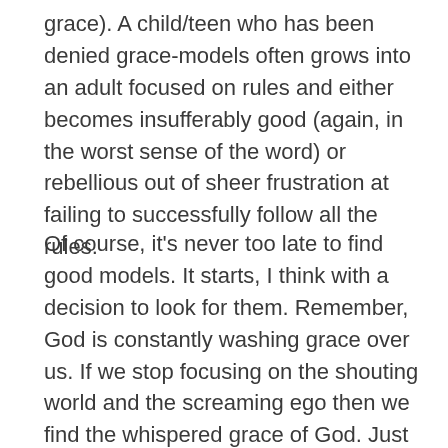grace). A child/teen who has been denied grace-models often grows into an adult focused on rules and either becomes insufferably good (again, in the worst sense of the word) or rebellious out of sheer frustration at failing to successfully follow all the rules.
Of course, it's never too late to find good models. It starts, I think with a decision to look for them. Remember, God is constantly washing grace over us. If we stop focusing on the shouting world and the screaming ego then we find the whispered grace of God. Just make a decision to start looking. And for the rest